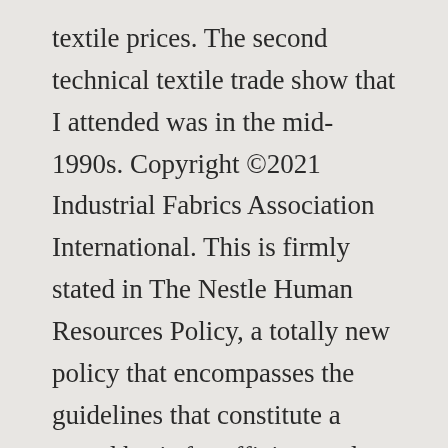textile prices. The second technical textile trade show that I attended was in the mid-1990s. Copyright ©2021 Industrial Fabrics Association International. This is firmly stated in The Nestle Human Resources Policy, a totally new policy that encompasses the guidelines that constitute a sound basis for efficient and effective human resource management. Fraunhofer IEM (Institute for Mechatronic Systems Design) sees AR functioning both in the planning of space and technology placement but also through the entire production lifecycle in providing faster and more efficient access to data for quality control, maintenance and servicing. Textiles deal with the mending and manufacture of